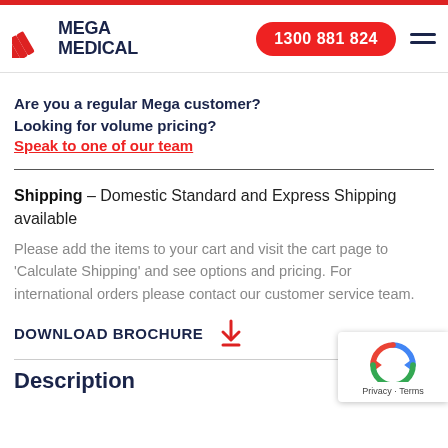Mega Medical — 1300 881 824
Are you a regular Mega customer?
Looking for volume pricing?
Speak to one of our team
Shipping – Domestic Standard and Express Shipping available
Please add the items to your cart and visit the cart page to 'Calculate Shipping' and see options and pricing. For international orders please contact our customer service team.
DOWNLOAD BROCHURE
Description